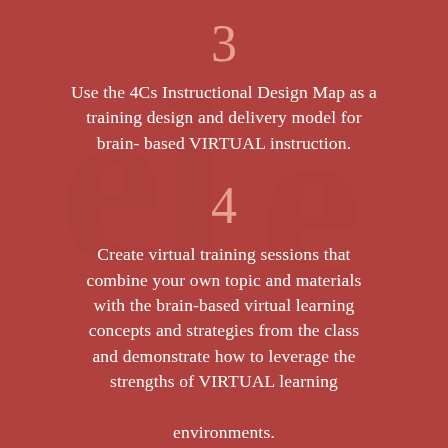3
Use the 4Cs Instructional Design Map as a training design and delivery model for brain- based VIRTUAL instruction.
4
Create virtual training sessions that combine your own topic and materials with the brain-based virtual learning concepts and strategies from the class and demonstrate how to leverage the strengths of VIRTUAL learning environments.